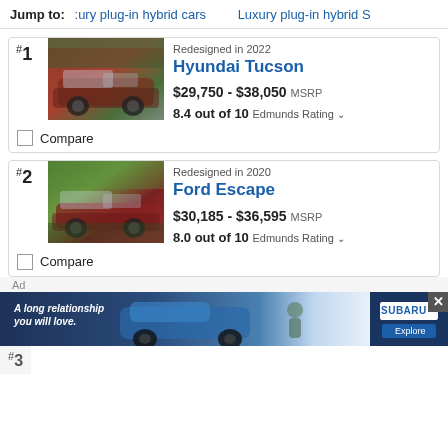Jump to: :ury plug-in hybrid cars   Luxury plug-in hybrid S
#1
[Figure (photo): Red Hyundai Tucson SUV in parking lot]
Redesigned in 2022
Hyundai Tucson
$29,750 - $38,050 MSRP
8.4 out of 10 Edmunds Rating
Compare
#2
[Figure (photo): Red Ford Escape SUV parked outdoors]
Redesigned in 2020
Ford Escape
$30,185 - $36,595 MSRP
8.0 out of 10 Edmunds Rating
Compare
Ad
[Figure (photo): Subaru advertisement: A long relationship you will love. Blue Subaru SUV with owner and dog outdoors.]
#3